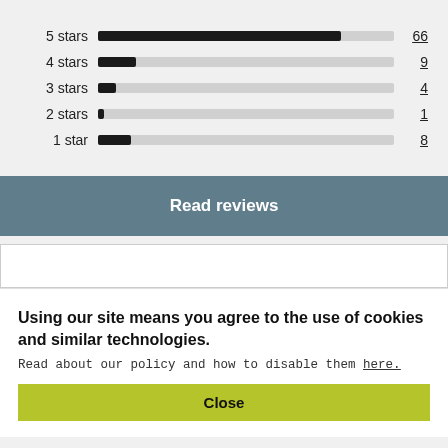[Figure (bar-chart): Star ratings breakdown]
Read reviews
Using our site means you agree to the use of cookies and similar technologies.
Read about our policy and how to disable them here.
Close